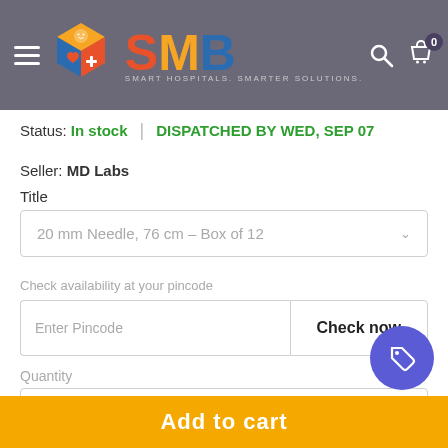[Figure (logo): SMB Smart Hospitals Smarter Solutions logo with colorful cube icon]
Status: In stock | DISPATCHED BY WED, SEP 07
Seller: MD Labs
Title
20 mm Needle, 76 cm – Box of 12
Check availability at your pincode
Enter Pincode
Check now
Quantity
Add to cart